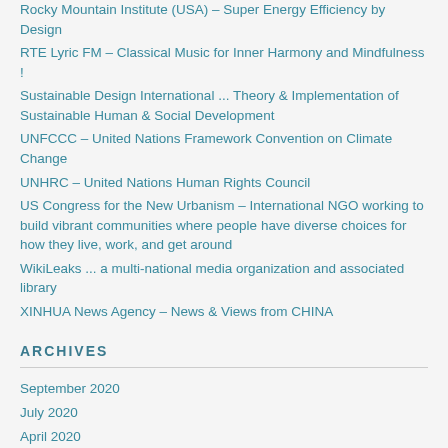Rocky Mountain Institute (USA) – Super Energy Efficiency by Design
RTE Lyric FM – Classical Music for Inner Harmony and Mindfulness !
Sustainable Design International ... Theory & Implementation of Sustainable Human & Social Development
UNFCCC – United Nations Framework Convention on Climate Change
UNHRC – United Nations Human Rights Council
US Congress for the New Urbanism – International NGO working to build vibrant communities where people have diverse choices for how they live, work, and get around
WikiLeaks ... a multi-national media organization and associated library
XINHUA News Agency – News & Views from CHINA
ARCHIVES
September 2020
July 2020
April 2020